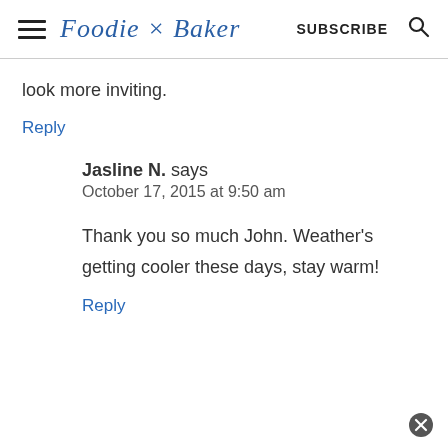Foodie × Baker  SUBSCRIBE
look more inviting.
Reply
Jasline N. says
October 17, 2015 at 9:50 am
Thank you so much John. Weather's getting cooler these days, stay warm!
Reply